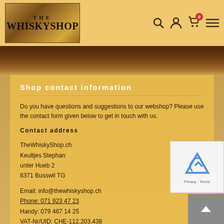THE WHISKYSHOP
Shop contact information
Do you have questions and suggestions to our webshop? Please use the contact form given below to get in touch with us.
Contact address
TheWhiskyShop.ch
Keultjes Stephan
unter Hueb 2
8371 Busswil TG
Email: info@thewhiskyshop.ch
Phone: 071 923 47 23
Handy: 079 467 14 25
VAT-Nr/UID: CHE-112.203.438
Shop feedback
Company